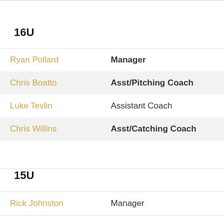16U
| Name | Role |
| --- | --- |
| Ryan Pollard | Manager |
| Chris Boatto | Asst/Pitching Coach |
| Luke Tevlin | Assistant Coach |
| Chris Willins | Asst/Catching Coach |
15U
| Name | Role |
| --- | --- |
| Rick Johnston | Manager |